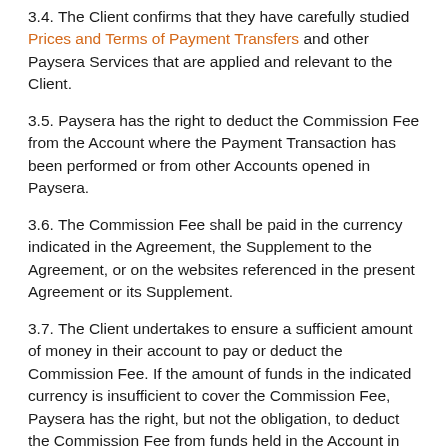3.4. The Client confirms that they have carefully studied Prices and Terms of Payment Transfers and other Paysera Services that are applied and relevant to the Client.
3.5. Paysera has the right to deduct the Commission Fee from the Account where the Payment Transaction has been performed or from other Accounts opened in Paysera.
3.6. The Commission Fee shall be paid in the currency indicated in the Agreement, the Supplement to the Agreement, or on the websites referenced in the present Agreement or its Supplement.
3.7. The Client undertakes to ensure a sufficient amount of money in their account to pay or deduct the Commission Fee. If the amount of funds in the indicated currency is insufficient to cover the Commission Fee, Paysera has the right, but not the obligation, to deduct the Commission Fee from funds held in the Account in another currency, converting the currency into the necessary one in accordance with the currency exchange rate applied by Paysera to the Client. The standard Paysera currency exchange rate is published here. If there is money in several different currencies in the Account, Paysera may exchange it to the payable currency according to the